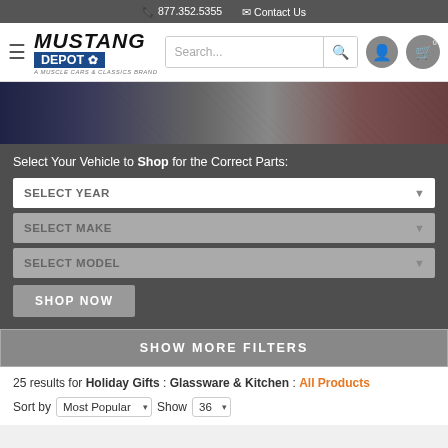877.352.5355  Contact Us
[Figure (logo): Mustang Depot logo with maple leaf — A Muscle Cars & Classics Brand]
[Figure (photo): Hero banner image showing muscle cars]
Select Your Vehicle to Shop for the Correct Parts:
SELECT YEAR
SELECT MAKE
SELECT MODEL
SHOP NOW
SHOW MORE FILTERS
25 results for Holiday Gifts : Glassware & Kitchen : All Products
Sort by  Most Popular    Show  36